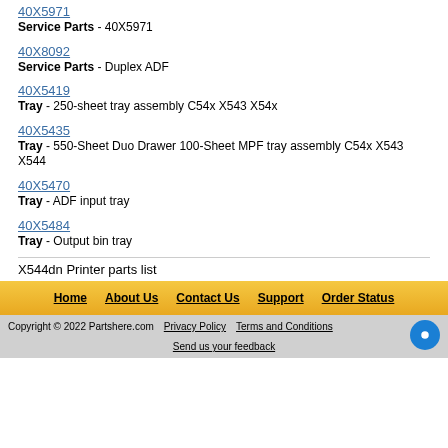40X5971 — Service Parts - 40X5971
40X8092 — Service Parts - Duplex ADF
40X5419 — Tray - 250-sheet tray assembly C54x X543 X54x
40X5435 — Tray - 550-Sheet Duo Drawer 100-Sheet MPF tray assembly C54x X543 X544
40X5470 — Tray - ADF input tray
40X5484 — Tray - Output bin tray
X544dn Printer parts list
Home | About Us | Contact Us | Support | Order Status
Copyright © 2022 Partshere.com  Privacy Policy  Terms and Conditions  Send us your feedback